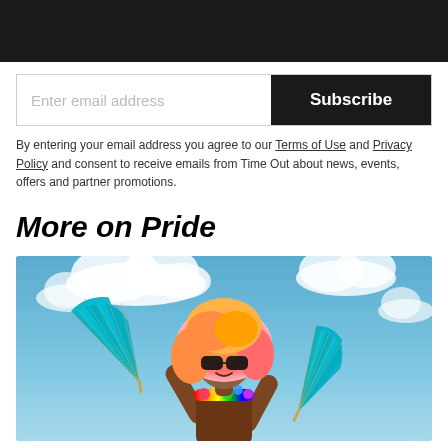[Figure (photo): Dark top navigation bar]
Enter email address
Subscribe
By entering your email address you agree to our Terms of Use and Privacy Policy and consent to receive emails from Time Out about news, events, offers and partner promotions.
More on Pride
[Figure (photo): A performer in colorful costume with orange/pink wig and teal fans raised against a blue sky with clouds]